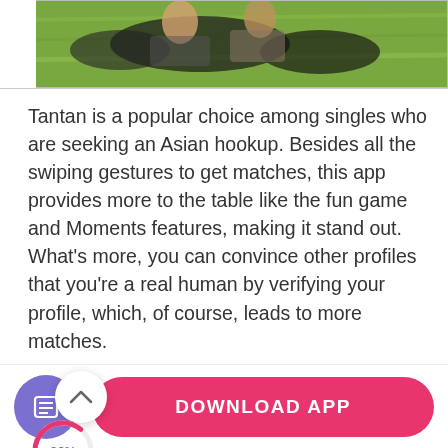[Figure (photo): Photo of people sitting on grass, partially cropped at top of page]
Tantan is a popular choice among singles who are seeking an Asian hookup. Besides all the swiping gestures to get matches, this app provides more to the table like the fun game and Moments features, making it stand out. What's more, you can convince other profiles that you're a real human by verifying your profile, which, of course, leads to more matches.
Pr...
[Figure (donut-chart): Partial donut/progress circle showing 36% in red/pink]
Friendly for the non-tech savvies
Share stories and photos through the Moments
[Figure (other): Bottom navigation bar with note/document icon button (purple circle) and DOWNLOAD APP pink button]